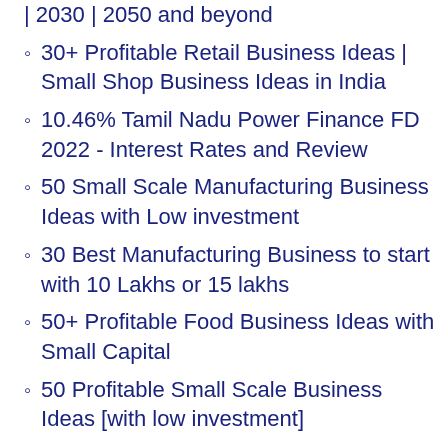| 2030 | 2050 and beyond
30+ Profitable Retail Business Ideas | Small Shop Business Ideas in India
10.46% Tamil Nadu Power Finance FD 2022 - Interest Rates and Review
50 Small Scale Manufacturing Business Ideas with Low investment
30 Best Manufacturing Business to start with 10 Lakhs or 15 lakhs
50+ Profitable Food Business Ideas with Small Capital
50 Profitable Small Scale Business Ideas [with low investment]
30+ Profitable Medium Scale Manufacturing Business Ideas in India
Rakesh Jhunjhunwala Portfolio 2022 - 10 Penny or low Priced Stocks